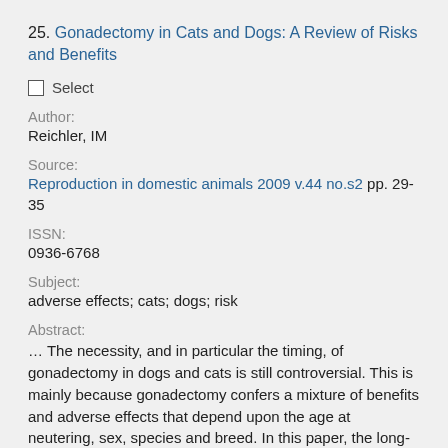25. Gonadectomy in Cats and Dogs: A Review of Risks and Benefits
Select
Author:
Reichler, IM
Source:
Reproduction in domestic animals 2009 v.44 no.s2 pp. 29-35
ISSN:
0936-6768
Subject:
adverse effects; cats; dogs; risk
Abstract:
… The necessity, and in particular the timing, of gonadectomy in dogs and cats is still controversial. This is mainly because gonadectomy confers a mixture of benefits and adverse effects that depend upon the age at neutering, sex, species and breed. In this paper, the long-term risks and